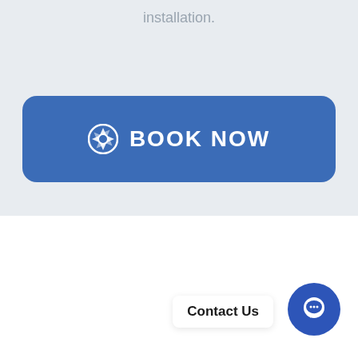installation.
[Figure (other): Blue rounded rectangle button with a shutter/aperture icon and the text BOOK NOW in white capital letters]
[Figure (other): Contact Us tooltip label with a blue circular chat bubble icon button in the bottom right corner]